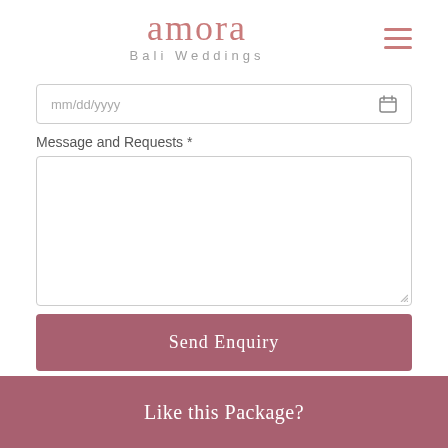amora Bali Weddings
mm/dd/yyyy
Message and Requests *
Send Enquiry
Like this Package?